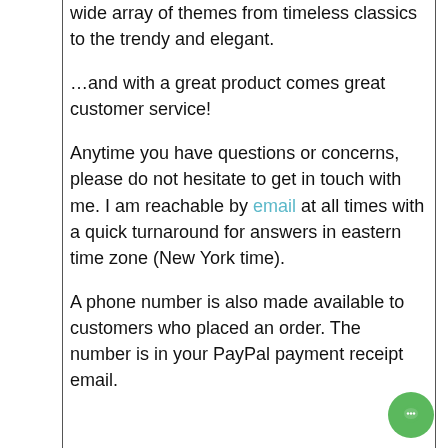wide array of themes from timeless classics to the trendy and elegant.
…and with a great product comes great customer service!
Anytime you have questions or concerns, please do not hesitate to get in touch with me. I am reachable by email at all times with a quick turnaround for answers in eastern time zone (New York time).
A phone number is also made available to customers who placed an order. The number is in your PayPal payment receipt email.